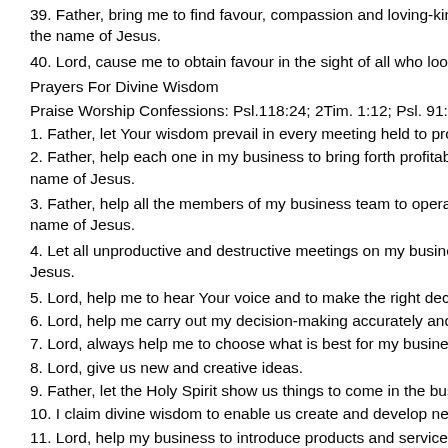39. Father, bring me to find favour, compassion and loving-kindness with the name of Jesus.
40. Lord, cause me to obtain favour in the sight of all who look upon me.
Prayers For Divine Wisdom
Praise Worship Confessions: Psl.118:24; 2Tim. 1:12; Psl. 91:11; Eph. 3:2
1. Father, let Your wisdom prevail in every meeting held to promote my b
2. Father, help each one in my business to bring forth profitable opinions name of Jesus.
3. Father, help all the members of my business team to operate and flow name of Jesus.
4. Let all unproductive and destructive meetings on my business fail to ta Jesus.
5. Lord, help me to hear Your voice and to make the right decisions on m
6. Lord, help me carry out my decision-making accurately and profitably.
7. Lord, always help me to choose what is best for my business.
8. Lord, give us new and creative ideas.
9. Father, let the Holy Spirit show us things to come in the business worl
10. I claim divine wisdom to enable us create and develop new products
11. Lord, help my business to introduce products and services which will lives.
12. Lord, give us innovative concepts and new ideas to enable us develo and services for our company.
13. Lord, open ideas to our spirits that can be translated into products a